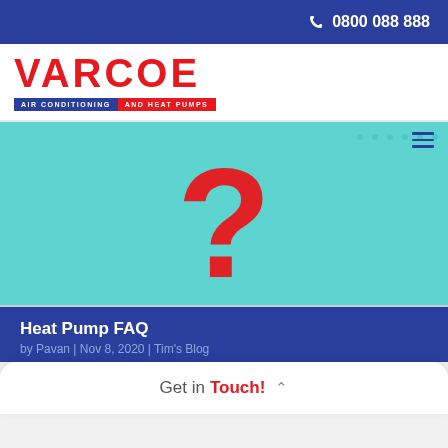0800 088 888
[Figure (logo): Varcoe Air Conditioning and Heat Pumps logo with red text and blue/red tagline bar]
[Figure (illustration): Hero image with teal/cyan dotted background and large red question mark in center, hamburger menu icon top right]
Heat Pump FAQ
by Pavan | Nov 8, 2020 | Tim's Blog
Get in Touch!